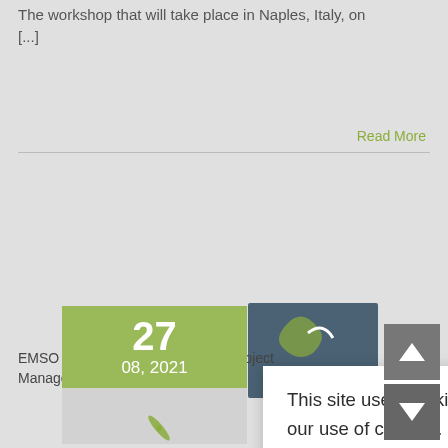The workshop that will take place in Naples, Italy, on [...]
Read More
[Figure (screenshot): Date card showing 27 / 08, 2021 in green, with blue-grey card partially visible behind]
New job op...
August 27th, 202...
EMSO is looking for a “Policy and Project Management Officer” [...]
[Figure (screenshot): Cookie consent dialog: 'This site uses cookies. By continuing to use this site you agree to our use of cookies. Learn more' with OK button]
[Figure (other): Scroll up and down arrow buttons in grey]